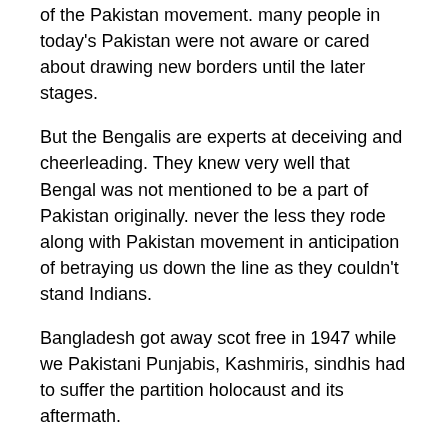of the Pakistan movement. many people in today's Pakistan were not aware or cared about drawing new borders until the later stages.
But the Bengalis are experts at deceiving and cheerleading. They knew very well that Bengal was not mentioned to be a part of Pakistan originally. never the less they rode along with Pakistan movement in anticipation of betraying us down the line as they couldn't stand Indians.
Bangladesh got away scot free in 1947 while we Pakistani Punjabis, Kashmiris, sindhis had to suffer the partition holocaust and its aftermath.
I'm glad we did not let go off Bangladesh without a fight. The mukti Bengalis think its a joke tearing of countries & borders but the pak army showed them the rigorous will to fight.
if there was any genocide in east Pakistan towards the bengolis, then it was against the mukti bahini. thousands of them were hung upside down & paid for their crimes towards the ordinary citizens of both east and west Pakistan.